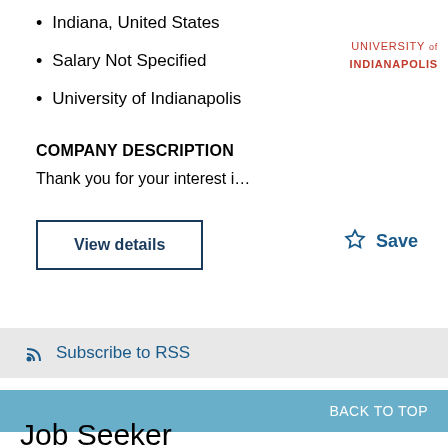Indiana, United States
Salary Not Specified
University of Indianapolis
[Figure (logo): University of Indianapolis logo text]
COMPANY DESCRIPTION
Thank you for your interest i…
View details
☆ Save
Subscribe to RSS
BACK TO TOP
Job Seeker